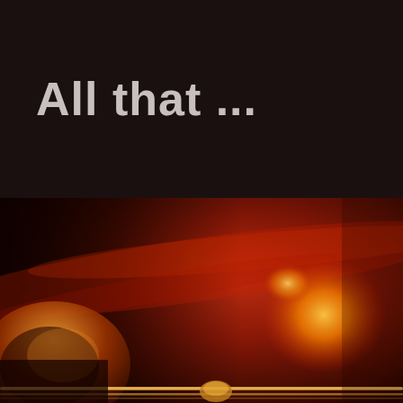All that ...
[Figure (photo): Close-up photograph of a brass musical instrument (trumpet or trombone) with dramatic red and orange lighting, showing the bell and valves with warm stage lighting glowing in the background against a dark red atmosphere.]